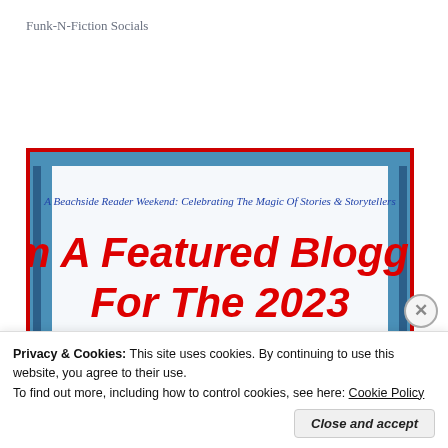Funk-N-Fiction Socials
[Figure (screenshot): Promotional image with red border showing text: 'A Beachside Reader Weekend: Celebrating The Magic Of Stories & Storytellers' in blue italic, followed by large red italic text 'I'm A Featured Blogger For The 2023' with partial circular logo/graphic at bottom.]
Privacy & Cookies: This site uses cookies. By continuing to use this website, you agree to their use.
To find out more, including how to control cookies, see here: Cookie Policy
Close and accept